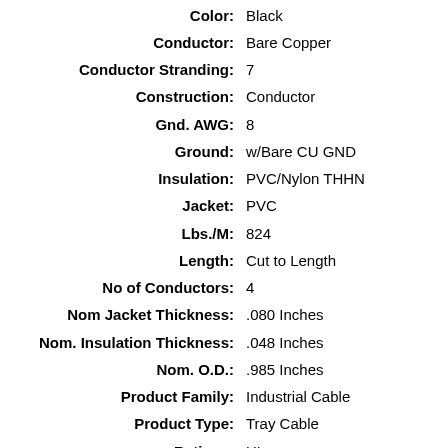| Property | Value |
| --- | --- |
| Color: | Black |
| Conductor: | Bare Copper |
| Conductor Stranding: | 7 |
| Construction: | Conductor |
| Gnd. AWG: | 8 |
| Ground: | w/Bare CU GND |
| Insulation: | PVC/Nylon THHN |
| Jacket: | PVC |
| Lbs./M: | 824 |
| Length: | Cut to Length |
| No of Conductors: | 4 |
| Nom Jacket Thickness: | .080 Inches |
| Nom. Insulation Thickness: | .048 Inches |
| Nom. O.D.: | .985 Inches |
| Product Family: | Industrial Cable |
| Product Type: | Tray Cable |
| Ratings: | UL |
| Shielded: | N |
| Shielding: | Non-Shielded |